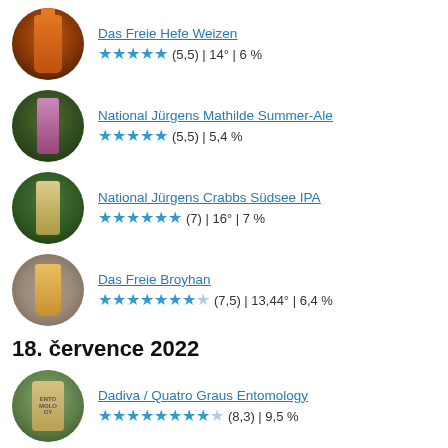Das Freie Hefe Weizen — ★★★★★ (5,5) | 14° | 6 %
National Jürgens Mathilde Summer-Ale — ★★★★★ (5,5) | 5,4 %
National Jürgens Crabbs Südsee IPA — ★★★★★★ (7) | 16° | 7 %
Das Freie Broyhan — ★★★★★★★ (7,5) | 13,44° | 6,4 %
18. července 2022
Dadiva / Quatro Graus Entomology — ★★★★★★★★ (8,3) | 9,5 %